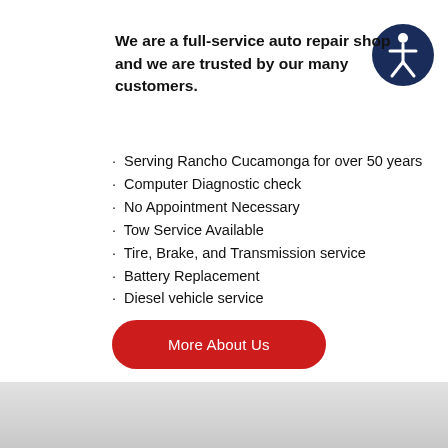[Figure (logo): Accessibility icon — dark navy circle with white stick figure person symbol]
We are a full-service auto repair shop and we are trusted by our many customers.
Serving Rancho Cucamonga for over 50 years
Computer Diagnostic check
No Appointment Necessary
Tow Service Available
Tire, Brake, and Transmission service
Battery Replacement
Diesel vehicle service
More About Us